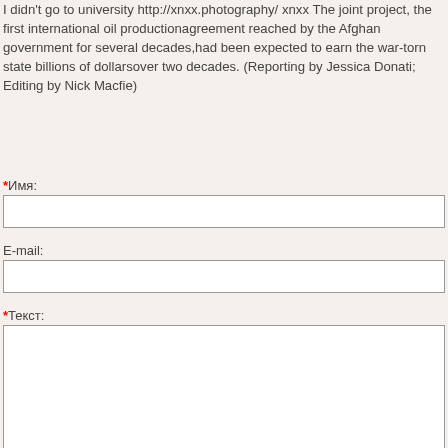I didn't go to university http://xnxx.photography/ xnxx The joint project, the first international oil productionagreement reached by the Afghan government for several decades,had been expected to earn the war-torn state billions of dollarsover two decades. (Reporting by Jessica Donati; Editing by Nick Macfie)
*Имя:
E-mail:
*Текст: